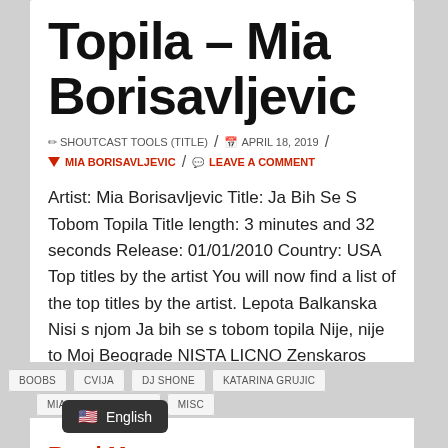Topila – Mia Borisavljevic
✏ SHOUTCAST TOOLS (TITLE) / 📅 APRIL 18, 2019 / 🔖 MIA BORISAVLJEVIC / 💬 LEAVE A COMMENT
Artist: Mia Borisavljevic Title: Ja Bih Se S Tobom Topila Title length: 3 minutes and 32 seconds Release: 01/01/2010 Country: USA Top titles by the artist You will now find a list of the top titles by the artist. Lepota Balkanska Nisi s njom Ja bih se s tobom topila Nije, nije to Moj Beograde NISTA LICNO Zenskaros Pričaju Po Gradu Kralju Moj Ko je gore prošao …
Read More
BOOBS
CVIJA
DJ SHONE
KATARINA GRUJIC
MIA BORISAVLJEVIC
MISC
🇺🇸 English